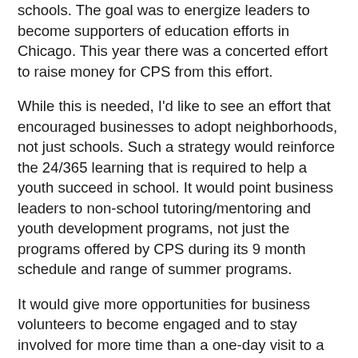schools. The goal was to energize leaders to become supporters of education efforts in Chicago. This year there was a concerted effort to raise money for CPS from this effort.
While this is needed, I'd like to see an effort that encouraged businesses to adopt neighborhoods, not just schools. Such a strategy would reinforce the 24/365 learning that is required to help a youth succeed in school. It would point business leaders to non-school tutoring/mentoring and youth development programs, not just the programs offered by CPS during its 9 month schedule and range of summer programs.
It would give more opportunities for business volunteers to become engaged and to stay involved for more time than a one-day visit to a school. Such a strategy would not only build stronger relationships with youth who need extra adults to mentor and build career aspirations, but would also help people beyond poverty become more informed of the complex issues that all need to be addressed at the same time, and for many years, if we're to change education